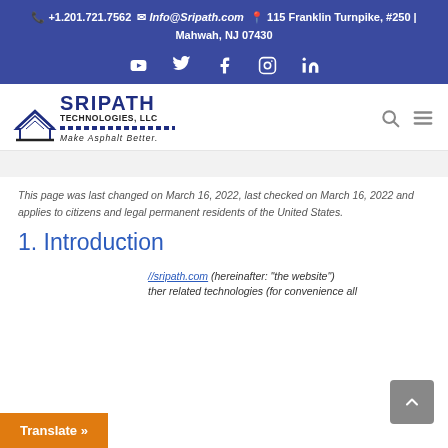📞 +1.201.721.7562 ✉ Info@Sripath.com 📍 115 Franklin Turnpike, #250 | Mahwah, NJ 07430
[Figure (other): Social media icons row: YouTube, Twitter, Facebook, Instagram, LinkedIn on blue background]
[Figure (logo): Sripath Technologies, LLC logo with house/road icon and tagline 'Make Asphalt Better.']
This page was last changed on March 16, 2022, last checked on March 16, 2022 and applies to citizens and legal permanent residents of the United States.
1. Introduction
//sripath.com (hereinafter: "the website") ther related technologies (for convenience all